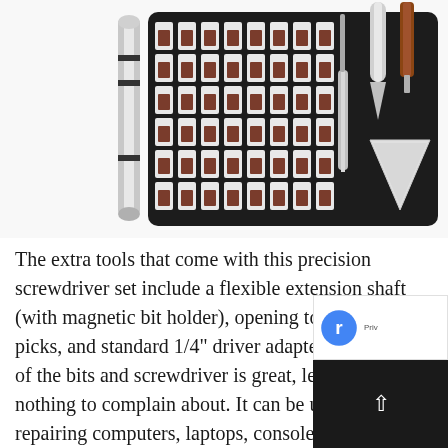[Figure (photo): A precision screwdriver kit in a black case showing multiple screwdriver bits arranged in rows, with a screwdriver handle on the left. To the right are separate tools: a flexible extension shaft, a triangular white opening pick, and a brown wooden-handled tool.]
The extra tools that come with this precision screwdriver set include a flexible extension shaft (with magnetic bit holder), opening tool, opening picks, and standard 1/4" driver adapter. The quality of the bits and screwdriver is great, leaving you nothing to complain about. It can be used for repairing computers, laptops, consoles (Nintendo, PlayStation, Xbox, etc.), smartphones, iPhones, Macbook Pro, and other electronic devices and...